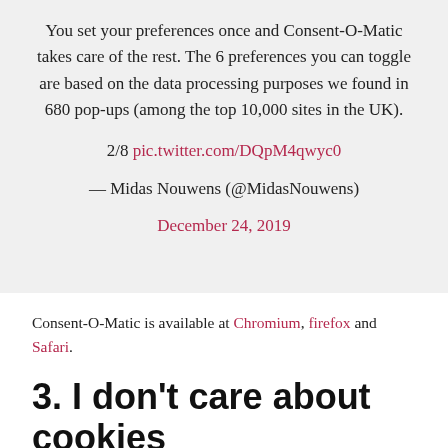You set your preferences once and Consent-O-Matic takes care of the rest. The 6 preferences you can toggle are based on the data processing purposes we found in 680 pop-ups (among the top 10,000 sites in the UK).
2/8 pic.twitter.com/DQpM4qwyc0
— Midas Nouwens (@MidasNouwens) December 24, 2019
Consent-O-Matic is available at Chromium, firefox and Safari.
3. I don't care about cookies
I don't care about cookies is very effective if your feelings match the name of the tool – but it's not the most privacy-centric option.